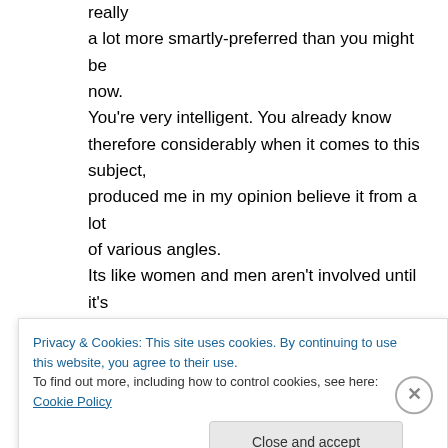really a lot more smartly-preferred than you might be now. You're very intelligent. You already know therefore considerably when it comes to this subject, produced me in my opinion believe it from a lot of various angles. Its like women and men aren't involved until it's one thing to do with Girl gaga! Your personal stuffs nice. All the time maintain it
Privacy & Cookies: This site uses cookies. By continuing to use this website, you agree to their use. To find out more, including how to control cookies, see here: Cookie Policy